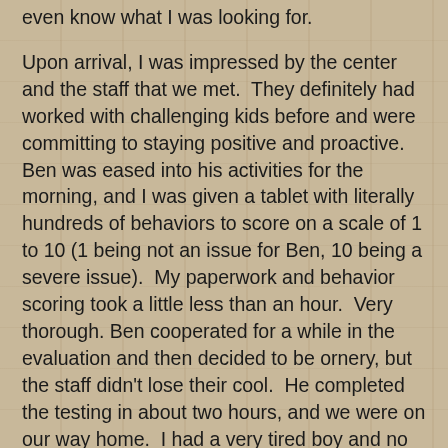even know what I was looking for.
Upon arrival, I was impressed by the center and the staff that we met. They definitely had worked with challenging kids before and were committing to staying positive and proactive. Ben was eased into his activities for the morning, and I was given a tablet with literally hundreds of behaviors to score on a scale of 1 to 10 (1 being not an issue for Ben, 10 being a severe issue). My paperwork and behavior scoring took a little less than an hour. Very thorough. Ben cooperated for a while in the evaluation and then decided to be ornery, but the staff didn't lose their cool. He completed the testing in about two hours, and we were on our way home. I had a very tired boy and no clear direction on what Friday would hold, but I just kept feeling like it was worth taking things one step further.
Today. Oh today. I've been a wreck. Waiting for the test results. Trying to think of all my questions. Processing whether or not this whole crazy program could possibly be legitimate. But after sitting down with the director of the center, my husband and I decided that our family would take